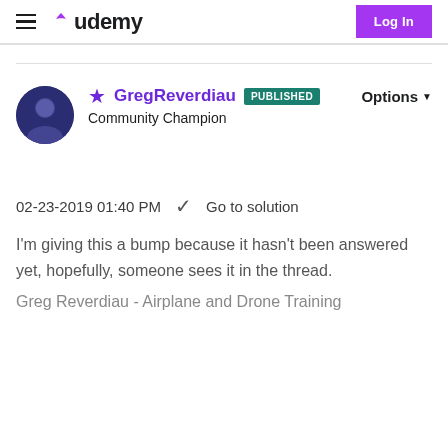Udemy — Log In
GregReverdiau PUBLISHED — Community Champion — Options
02-23-2019 01:40 PM  ✓  Go to solution
I'm giving this a bump because it hasn't been answered yet, hopefully, someone sees it in the thread.
Greg Reverdiau - Airplane and Drone Training